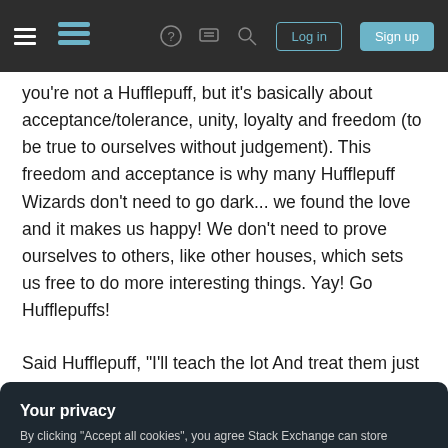Stack Exchange navigation bar with hamburger menu, logo, question mark, chat, search, Log in, Sign up buttons
you're not a Hufflepuff, but it's basically about acceptance/tolerance, unity, loyalty and freedom (to be true to ourselves without judgement). This freedom and acceptance is why many Hufflepuff Wizards don't need to go dark... we found the love and it makes us happy! We don't need to prove ourselves to others, like other houses, which sets us free to do more interesting things. Yay! Go Hufflepuffs!
Said Hufflepuff, "I'll teach the lot And treat them just
Your privacy
By clicking "Accept all cookies", you agree Stack Exchange can store cookies on your device and disclose information in accordance with our Cookie Policy.
Accept all cookies   Customize settings
If you're going to quote from some where could you